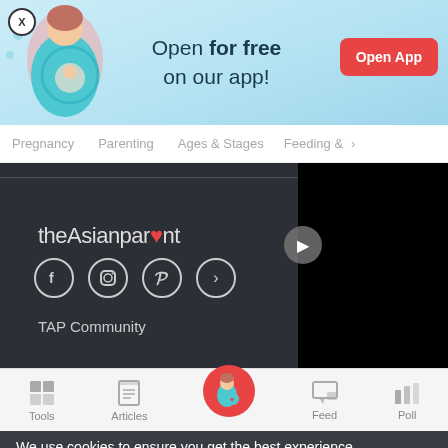[Figure (screenshot): Mobile app advertisement banner with light blue background. Shows an illustration of a pregnant woman on the left, text 'Open for free on our app!' in the center, and a red 'Open App' button. A close (X) button appears in top-left corner.]
Pregnancy   Parenting   Ages & Stages   Feeding & >
[Figure (screenshot): Dark background section showing theAsianparent website footer with logo text 'theAsianparent', social media icons (Facebook, Instagram, Pinterest), a black video overlay panel on the right, and 'TAP Community' text.]
[Figure (screenshot): Bottom navigation bar with icons and labels: Tools, Articles, a pink circle with pregnant woman icon (home/center), Feed, Poll]
We use cookies to ensure you get the best experience.
Learn More   Ok, Got it